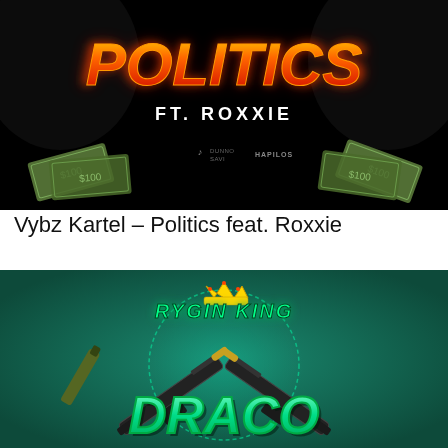[Figure (illustration): Music single artwork for 'Politics' by Vybz Kartel ft. Roxxie. Dark black background with large red/yellow neon 'POLITICS' text at top, 'FT. ROXXIE' text below in white, flying dollar bills on sides, and small record label logos at bottom center.]
Vybz Kartel – Politics feat. Roxxie
[Figure (illustration): Music single artwork for 'Draco' by Rygin King. Teal/green background with 'RYGIN KING' in green neon text with crown icon above, crossed weapons (Draco rifles) in center, and large glowing green 3D 'DRACO' text at bottom.]